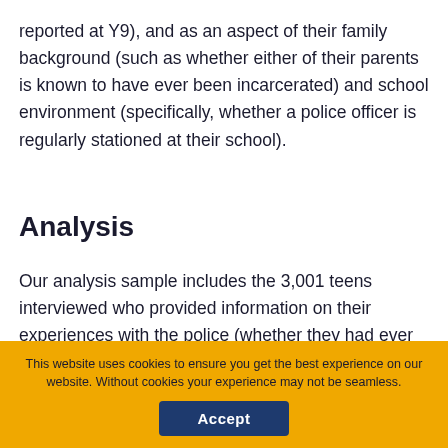reported at Y9), and as an aspect of their family background (such as whether either of their parents is known to have ever been incarcerated) and school environment (specifically, whether a police officer is regularly stationed at their school).
Analysis
Our analysis sample includes the 3,001 teens interviewed who provided information on their experiences with the police (whether they had ever been stopped or experienced vicarious police contact), and their attitudes about the law. Table A1 presents a
This website uses cookies to ensure you get the best experience on our website. Without cookies your experience may not be seamless.